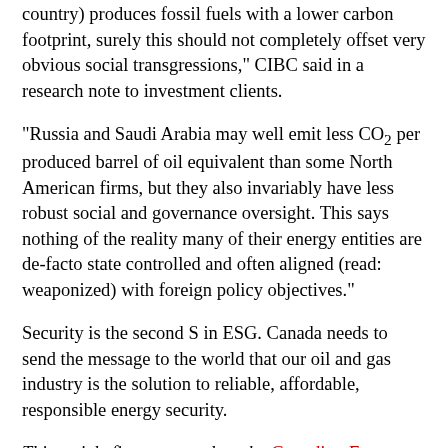country) produces fossil fuels with a lower carbon footprint, surely this should not completely offset very obvious social transgressions," CIBC said in a research note to investment clients.
“Russia and Saudi Arabia may well emit less CO2 per produced barrel of oil equivalent than some North American firms, but they also invariably have less robust social and governance oversight. This says nothing of the reality many of their energy entities are de-facto state controlled and often aligned (read: weaponized) with foreign policy objectives.”
Security is the second S in ESG. Canada needs to send the message to the world that our oil and gas industry is the solution to reliable, affordable, responsible energy security.
This article first appeared on the Canadian Energy Centre website on May 22, 2022. Reprinted here with permission.